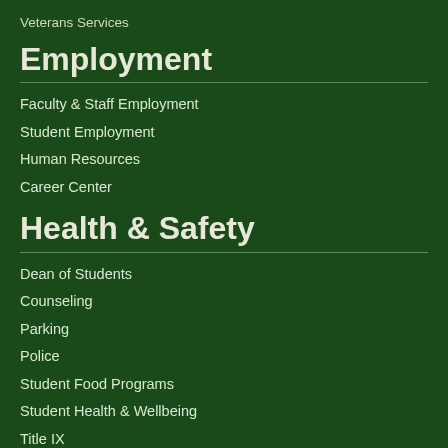Veterans Services
Employment
Faculty & Staff Employment
Student Employment
Human Resources
Career Center
Health & Safety
Dean of Students
Counseling
Parking
Police
Student Food Programs
Student Health & Wellbeing
Title IX